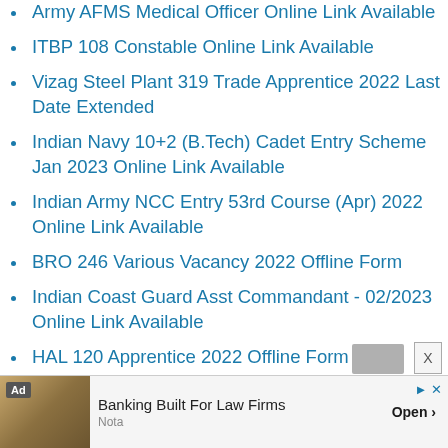Army AFMS Medical Officer Online Link Available
ITBP 108 Constable Online Link Available
Vizag Steel Plant 319 Trade Apprentice 2022 Last Date Extended
Indian Navy 10+2 (B.Tech) Cadet Entry Scheme Jan 2023 Online Link Available
Indian Army NCC Entry 53rd Course (Apr) 2022 Online Link Available
BRO 246 Various Vacancy 2022 Offline Form
Indian Coast Guard Asst Commandant - 02/2023 Online Link Available
HAL 120 Apprentice 2022 Offline Form
Gail (India) Ltd 282 Non-Executive 2022 Online Link Available
[Figure (screenshot): Advertisement banner: Ad badge, image of law books/gavel, text 'Banking Built For Law Firms', subtitle 'Nota', Open button, play and close icons]